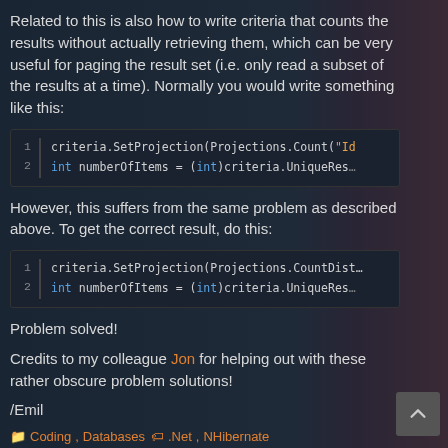Related to this is also how to write criteria that counts the results without actually retrieving them, which can be very useful for paging the result set (i.e. only read a subset of the results at a time). Normally you would write something like this:
[Figure (screenshot): Code block with 2 lines: 1) criteria.SetProjection(Projections.Count("Id  2) int numberOfItems = (int)criteria.UniqueResu]
However, this suffers from the same problem as described above. To get the correct result, do this:
[Figure (screenshot): Code block with 2 lines: 1) criteria.SetProjection(Projections.CountDist  2) int numberOfItems = (int)criteria.UniqueResu]
Problem solved!
Credits to my colleague Jon for helping out with these rather obscure problem solutions!
/Emil
Coding, Databases   .Net, NHibernate